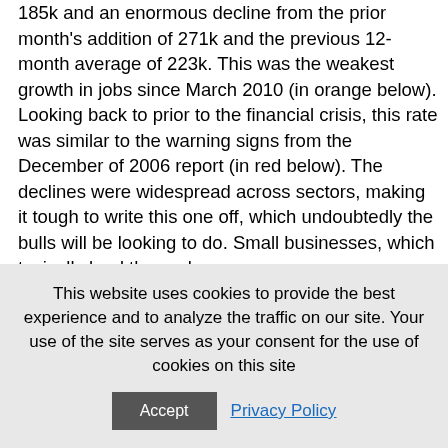185k and an enormous decline from the prior month's addition of 271k and the previous 12-month average of 223k. This was the weakest growth in jobs since March 2010 (in orange below). Looking back to prior to the financial crisis, this rate was similar to the warning signs from the December of 2006 report (in red below). The declines were widespread across sectors, making it tough to write this one off, which undoubtedly the bulls will be looking to do. Small businesses, which typically lead the cycle, saw
This website uses cookies to provide the best experience and to analyze the traffic on our site. Your use of the site serves as your consent for the use of cookies on this site